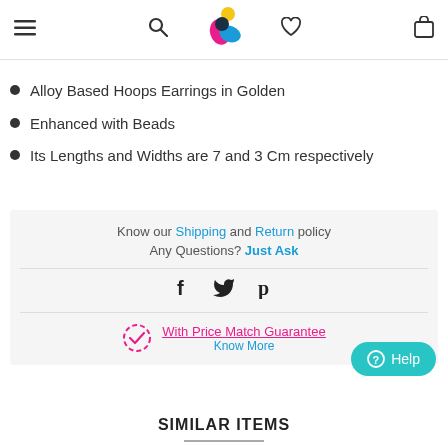Navigation bar with menu, search, logo, heart and bag icons
Alloy Based Hoops Earrings in Golden
Enhanced with Beads
Its Lengths and Widths are 7 and 3 Cm respectively
Know our Shipping and Return policy
Any Questions? Just Ask
[Figure (other): Social share icons: Facebook, Twitter, Pinterest]
With Price Match Guarantee
Know More
SIMILAR ITEMS